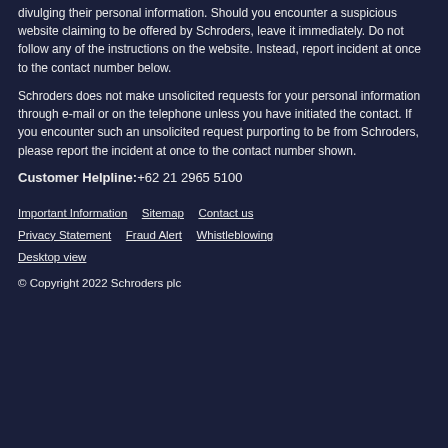Bogus look alike websites are designed to trick customers into divulging their personal information. Should you encounter a suspicious website claiming to be offered by Schroders, leave it immediately. Do not follow any of the instructions on the website. Instead, report incident at once to the contact number below.
Schroders does not make unsolicited requests for your personal information through e-mail or on the telephone unless you have initiated the contact. If you encounter such an unsolicited request purporting to be from Schroders, please report the incident at once to the contact number shown.
Customer Helpline: +62 21 2965 5100
Important Information
Sitemap
Contact us
Privacy Statement
Fraud Alert
Whistleblowing
Desktop view
© Copyright 2022 Schroders plc